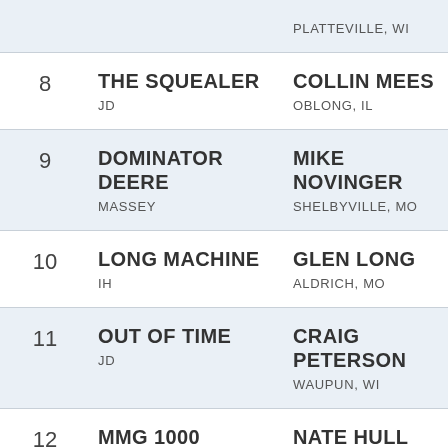| # | Machine Name / Brand | Owner / Location |
| --- | --- | --- |
|  | PLATTEVILLE, WI |  |
| 8 | THE SQUEALER
JD | COLLIN MEES
OBLONG, IL |
| 9 | DOMINATOR DEERE
MASSEY | MIKE NOVINGER
SHELBYVILLE, MO |
| 10 | LONG MACHINE
IH | GLEN LONG
ALDRICH, MO |
| 11 | OUT OF TIME
JD | CRAIG PETERSON
WAUPUN, WI |
| 12 | MMG 1000
MM | NATE HULL
BRANDON, WI |
| 13 | LESSONS LEARNED
IH | NEIL GETTINGER
HAGERSTOWN |